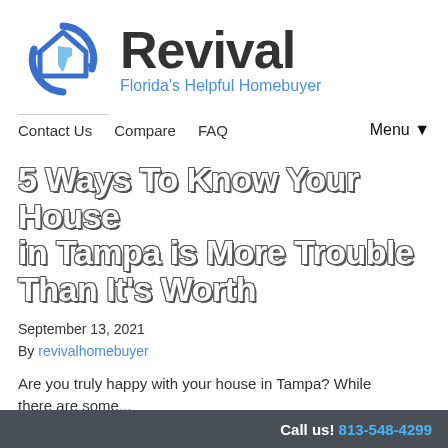[Figure (logo): Revival Florida's Helpful Homebuyer logo — a house shape with circular arrows in blue, with Florida state outline inside, next to the text 'Revival' and tagline 'Florida's Helpful Homebuyer']
Contact Us   Compare   FAQ   Menu▼
5 Ways To Know Your House in Tampa is More Trouble Than It's Worth
September 13, 2021
By revivalhomebuyer
Are you truly happy with your house in Tampa? While there are some...
Call us! 813-548-4299